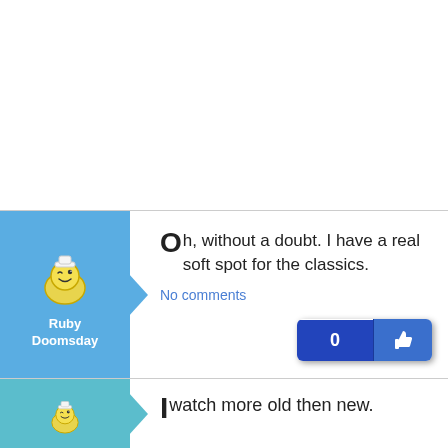[Figure (illustration): Comment card with blue avatar panel showing a winking smiley face mascot (yellow face with bag/pouch body) and username 'Ruby Doomsday'. Text: 'Oh, without a doubt. I have a real soft spot for the classics.' with 'No comments' link and like button showing 0 likes.]
Oh, without a doubt. I have a real soft spot for the classics.
No comments
[Figure (illustration): Partial comment card with teal avatar panel showing same winking smiley face mascot. Text begins: 'I watch more old then new.']
I watch more old then new.